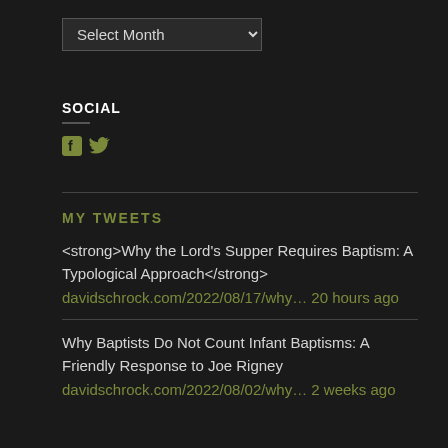Select Month (dropdown)
SOCIAL
[Figure (illustration): Facebook and Twitter social media icons in olive/green color]
MY TWEETS
<strong>Why the Lord's Supper Requires Baptism: A Typological Approach</strong>
davidschrock.com/2022/08/17/why… 20 hours ago
Why Baptists Do Not Count Infant Baptisms: A Friendly Response to Joe Rigney
davidschrock.com/2022/08/02/why… 2 weeks ago